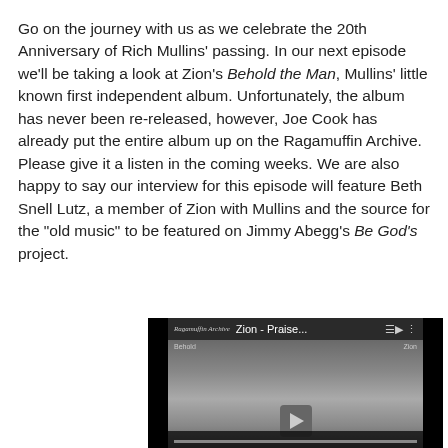Go on the journey with us as we celebrate the 20th Anniversary of Rich Mullins' passing. In our next episode we'll be taking a look at Zion's Behold the Man, Mullins' little known first independent album. Unfortunately, the album has never been re-released, however, Joe Cook has already put the entire album up on the Ragamuffin Archive. Please give it a listen in the coming weeks. We are also happy to say our interview for this episode will feature Beth Snell Lutz, a member of Zion with Mullins and the source for the "old music" to be featured on Jimmy Abegg's Be God's project.
[Figure (screenshot): YouTube-style video player showing 'Zion - Praise...' playlist from Ragamuffin Archive, with playlist icon, vertical dots menu, and play button at bottom center.]